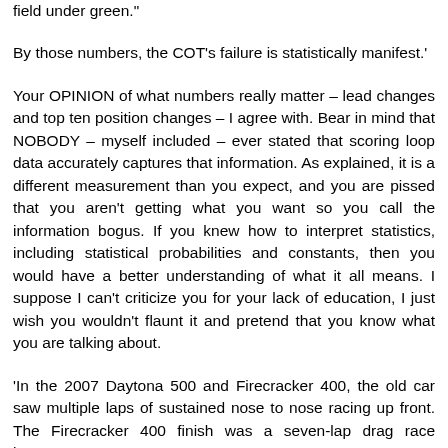field under green."
By those numbers, the COT's failure is statistically manifest.'
Your OPINION of what numbers really matter – lead changes and top ten position changes – I agree with. Bear in mind that NOBODY – myself included – ever stated that scoring loop data accurately captures that information. As explained, it is a different measurement than you expect, and you are pissed that you aren't getting what you want so you call the information bogus. If you knew how to interpret statistics, including statistical probabilities and constants, then you would have a better understanding of what it all means. I suppose I can't criticize you for your lack of education, I just wish you wouldn't flaunt it and pretend that you know what you are talking about.
'In the 2007 Daytona 500 and Firecracker 400, the old car saw multiple laps of sustained nose to nose racing up front. The Firecracker 400 finish was a seven-lap drag race between ten cars.